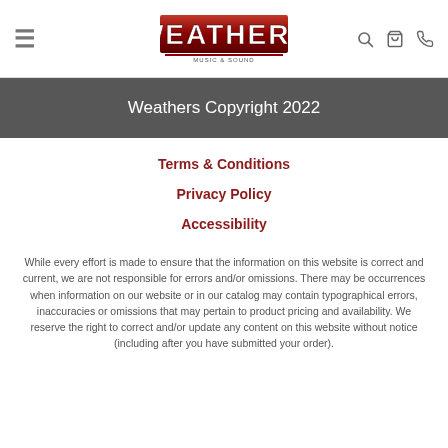WEATHERS [navigation bar with logo, menu, search, cart, phone icons]
Weathers Copyright 2022
Terms & Conditions
Privacy Policy
Accessibility
While every effort is made to ensure that the information on this website is correct and current, we are not responsible for errors and/or omissions. There may be occurrences when information on our website or in our catalog may contain typographical errors, inaccuracies or omissions that may pertain to product pricing and availability. We reserve the right to correct and/or update any content on this website without notice (including after you have submitted your order).